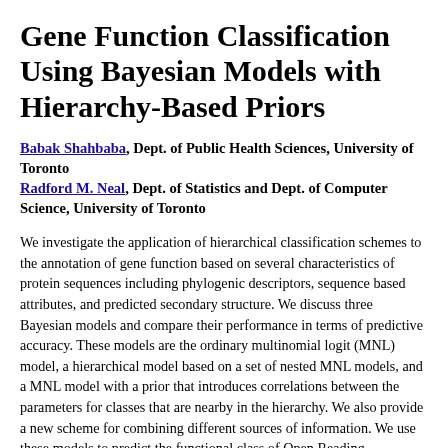Gene Function Classification Using Bayesian Models with Hierarchy-Based Priors
Babak Shahbaba, Dept. of Public Health Sciences, University of Toronto
Radford M. Neal, Dept. of Statistics and Dept. of Computer Science, University of Toronto
We investigate the application of hierarchical classification schemes to the annotation of gene function based on several characteristics of protein sequences including phylogenic descriptors, sequence based attributes, and predicted secondary structure. We discuss three Bayesian models and compare their performance in terms of predictive accuracy. These models are the ordinary multinomial logit (MNL) model, a hierarchical model based on a set of nested MNL models, and a MNL model with a prior that introduces correlations between the parameters for classes that are nearby in the hierarchy. We also provide a new scheme for combining different sources of information. We use these models to predict the functional class of Open Reading Frames (ORFs) from the Yeast genome. The results from all three models suggest...